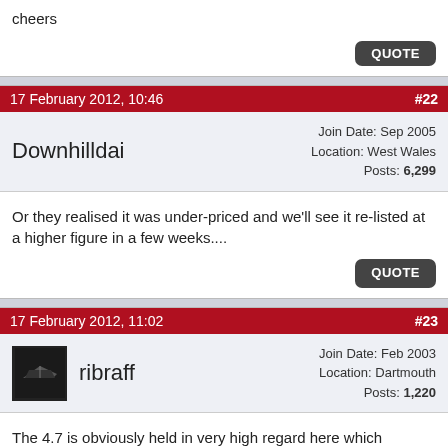cheers
QUOTE
17 February 2012, 10:46   #22
Downhilldai   Join Date: Sep 2005   Location: West Wales   Posts: 6,299
Or they realised it was under-priced and we'll see it re-listed at a higher figure in a few weeks....
QUOTE
17 February 2012, 11:02   #23
ribraff   Join Date: Feb 2003   Location: Dartmouth   Posts: 1,220
The 4.7 is obviously held in very high regard here which obviously opens it up to lots of potential buyers but is this view held on a larger scale too?
To a non-Ribnet owner would it not just be a 4.72...